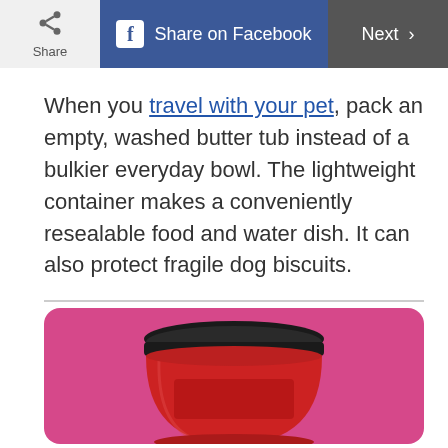Share | Share on Facebook | Next >
When you travel with your pet, pack an empty, washed butter tub instead of a bulkier everyday bowl. The lightweight container makes a conveniently resealable food and water dish. It can also protect fragile dog biscuits.
[Figure (photo): A red cylindrical container/tub with a black lid photographed against a bright pink/magenta background]